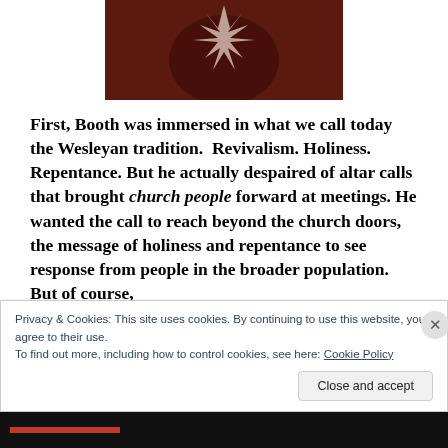[Figure (photo): Dark reddish-brown photograph of a person, possibly a historical portrait with light streaks visible at top]
First, Booth was immersed in what we call today the Wesleyan tradition.  Revivalism. Holiness. Repentance. But he actually despaired of altar calls that brought church people forward at meetings. He wanted the call to reach beyond the church doors, the message of holiness and repentance to see response from people in the broader population. But of course,
Privacy & Cookies: This site uses cookies. By continuing to use this website, you agree to their use.
To find out more, including how to control cookies, see here: Cookie Policy
Close and accept